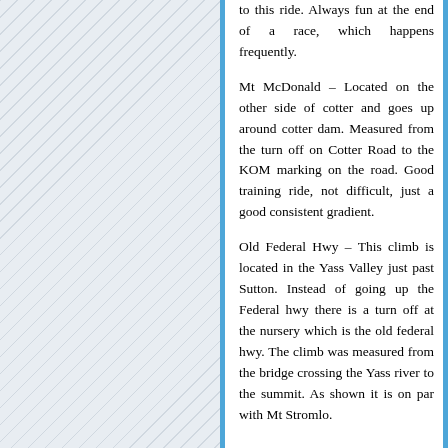to this ride. Always fun at the end of a race, which happens frequently.
Mt McDonald – Located on the other side of cotter and goes up around cotter dam. Measured from the turn off on Cotter Road to the KOM marking on the road. Good training ride, not difficult, just a good consistent gradient.
Old Federal Hwy – This climb is located in the Yass Valley just past Sutton. Instead of going up the Federal hwy there is a turn off at the nursery which is the old federal hwy. The climb was measured from the bridge crossing the Yass river to the summit. As shown it is on par with Mt Stromlo.